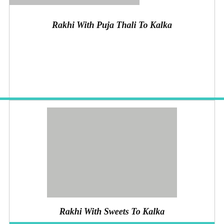[Figure (other): Gray placeholder image strip at top of first product card]
Rakhi With Puja Thali To Kalka
[Figure (other): Gray placeholder image for second product - Rakhi With Sweets To Kalka]
Rakhi With Sweets To Kalka